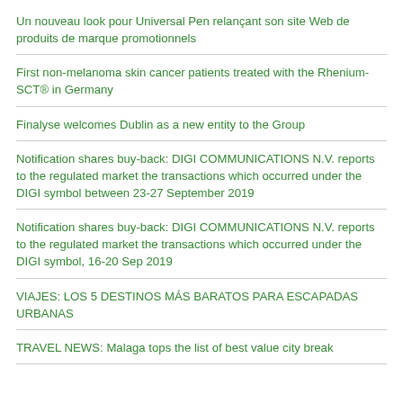Un nouveau look pour Universal Pen relançant son site Web de produits de marque promotionnels
First non-melanoma skin cancer patients treated with the Rhenium-SCT® in Germany
Finalyse welcomes Dublin as a new entity to the Group
Notification shares buy-back: DIGI COMMUNICATIONS N.V. reports to the regulated market the transactions which occurred under the DIGI symbol between 23-27 September 2019
Notification shares buy-back: DIGI COMMUNICATIONS N.V. reports to the regulated market the transactions which occurred under the DIGI symbol, 16-20 Sep 2019
VIAJES: LOS 5 DESTINOS MÁS BARATOS PARA ESCAPADAS URBANAS
TRAVEL NEWS: Malaga tops the list of best value city break